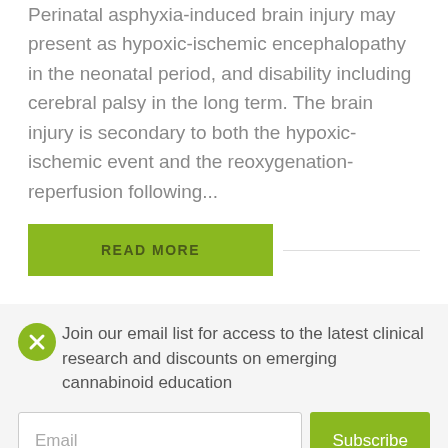Perinatal asphyxia-induced brain injury may present as hypoxic-ischemic encephalopathy in the neonatal period, and disability including cerebral palsy in the long term. The brain injury is secondary to both the hypoxic-ischemic event and the reoxygenation-reperfusion following...
READ MORE
Join our email list for access to the latest clinical research and discounts on emerging cannabinoid education
Email
Subscribe